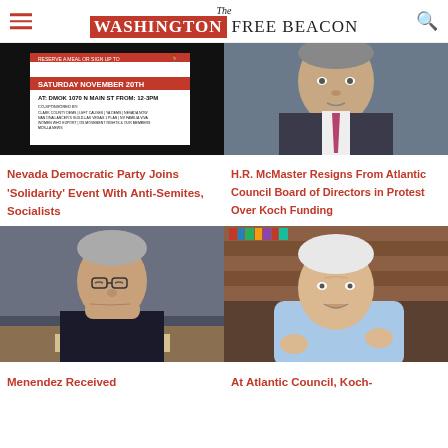The Washington Free Beacon
[Figure (photo): Flyer for a Saturday November 20th solidarity event at DMOK 1070 N Main St from 12-3PM, co-sponsored by various organizations]
Nevada Democratic Party Joins 'Solidarity' Event With Anti-Semites, Socialists
[Figure (photo): H.R. McMaster in a suit with a pink tie, looking serious]
H.R. McMaster Resigns From Atlantic Council Board of Directors in Protest Over Koch Funding
[Figure (photo): Senator Menendez with nameplate reading MR. MENENDEZ, looking down with hand to chin]
Menendez Received
[Figure (photo): Elderly man in light blue shirt gesturing with hands, seated in front of bookshelves]
At Atlantic Council, Koch-